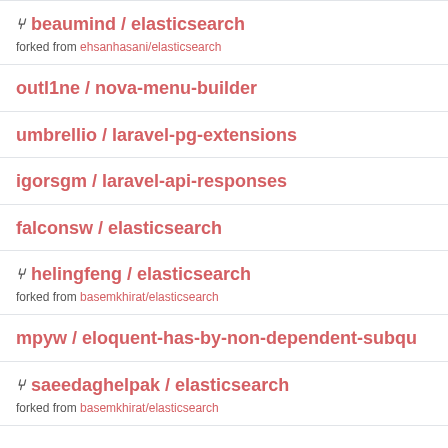ℛ beaumind / elasticsearch
forked from ehsanhasani/elasticsearch
outl1ne / nova-menu-builder
umbrellio / laravel-pg-extensions
igorsgm / laravel-api-responses
falconsw / elasticsearch
ℛ helingfeng / elasticsearch
forked from basemkhirat/elasticsearch
mpyw / eloquent-has-by-non-dependent-subqu
ℛ saeedaghelpak / elasticsearch
forked from basemkhirat/elasticsearch